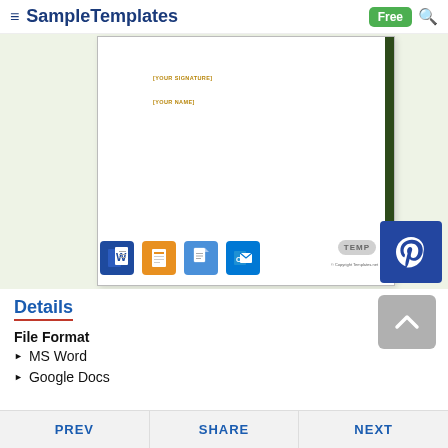SampleTemplates — Free
[Figure (screenshot): Document template preview showing [YOUR SIGNATURE] and [YOUR NAME] placeholder text on a white paper with green sidebar, app format icons (MS Word, Pages, Google Docs, Outlook), Pinterest button, and TEMP label overlay on light green background]
Details
File Format
MS Word
Google Docs
PREV   SHARE   NEXT